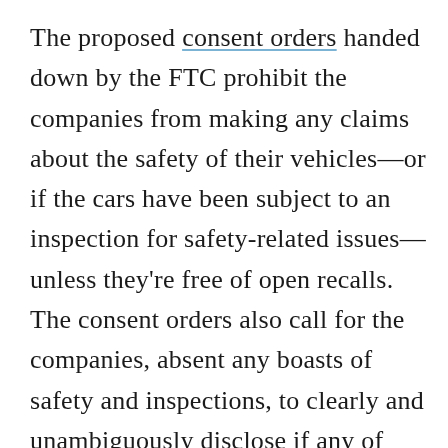The proposed consent orders handed down by the FTC prohibit the companies from making any claims about the safety of their vehicles—or if the cars have been subject to an inspection for safety-related issues—unless they're free of open recalls. The consent orders also call for the companies, absent any boasts of safety and inspections, to clearly and unambiguously disclose if any of their vehicles may be subject to unrepaired recalls for safety concerns. Further, the FTC announcement continued,